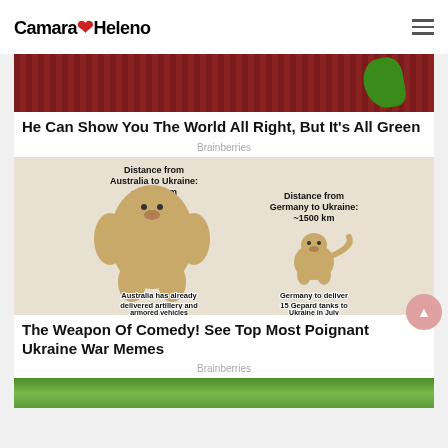Camara Heleno
[Figure (illustration): Animated screenshot with red patterned background and green plant/character elements]
He Can Show You The World All Right, But It’s All Green
Brainberries
[Figure (photo): Meme comparing Australia and Germany distances to Ukraine, with muscular Doge representing Australia (13000 km, already delivered artillery and armored vehicles) and small Doge representing Germany (1500 km, to deliver 15 Gepard tanks to Ukraine in July)]
The Weapon Of Comedy! See Top Most Poignant Ukraine War Memes
Brainberries
[Figure (photo): Partial bottom image with green/nature scenery]